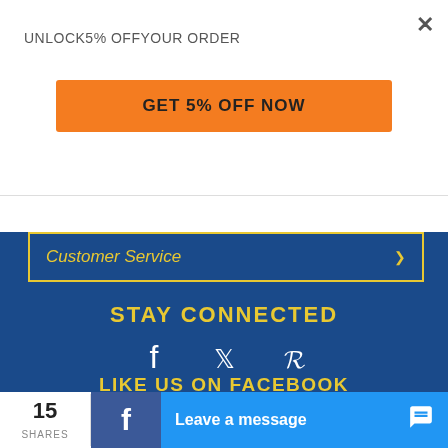UNLOCK 5% OFF YOUR ORDER
GET 5% OFF NOW
Customer Service
STAY CONNECTED
[Figure (infographic): Social media icons: Facebook, Twitter, Pinterest]
LIKE US ON FACEBOOK
[Figure (infographic): Facebook Like and Share buttons with Sign Up text: 'Sign Up to see what your friends like.']
15 SHARES
Leave a message